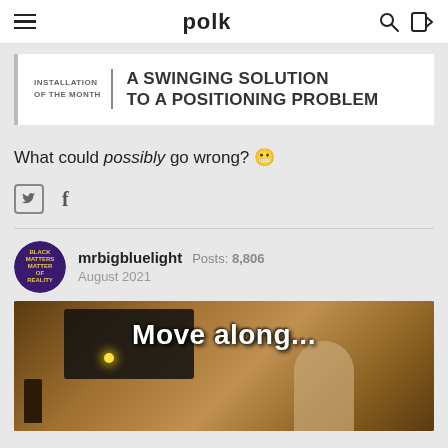polk
[Figure (other): Banner reading: INSTALLATION OF THE MONTH | A SWINGING SOLUTION TO A POSITIONING PROBLEM]
What could possibly go wrong? 😬
[Figure (other): Social sharing icons: Twitter (bird icon in square) and Facebook (f)]
mrbigbluelight   Posts: 8,806
August 2021
[Figure (photo): Meme image of a room with a TV, lamp, and person, with text overlay reading 'Move along...']